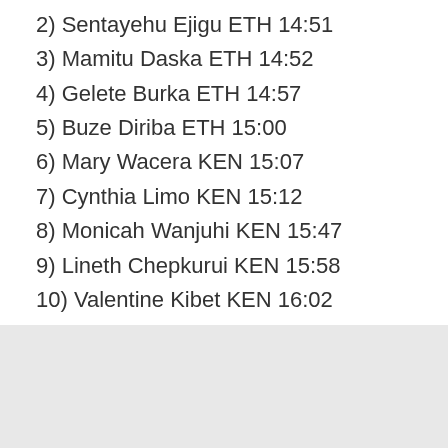2) Sentayehu Ejigu ETH 14:51
3) Mamitu Daska ETH 14:52
4) Gelete Burka ETH 14:57
5) Buze Diriba ETH 15:00
6) Mary Wacera KEN 15:07
7) Cynthia Limo KEN 15:12
8) Monicah Wanjuhi KEN 15:47
9) Lineth Chepkurui KEN 15:58
10) Valentine Kibet KEN 16:02